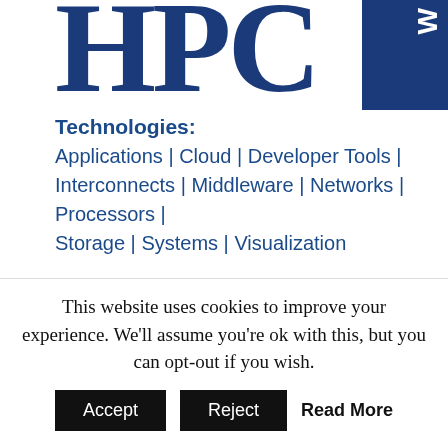[Figure (logo): HPCwire logo with large stylized letters 'HPC' in dark navy blue and a dark navy badge on the right side with 'W' text]
Technologies:
Applications | Cloud | Developer Tools | Interconnects | Middleware | Networks | Processors | Storage | Systems | Visualization
Sectors:
Academia & Research | Business | Entertainment | Financial Services | Government | Life Sciences | Manufacturing | Oil & Gas | Retail
Exascale | Multimedia | Events | Organizations and Affiliations | Editorial Submissions | Subscribe | About HPCwire | Contact Us | Sitemap | Register...
This website uses cookies to improve your experience. We'll assume you're ok with this, but you can opt-out if you wish. Accept Reject Read More